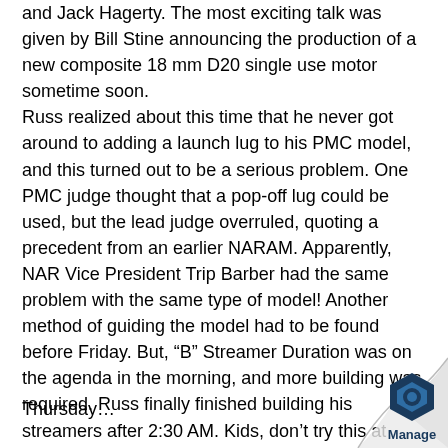and Jack Hagerty. The most exciting talk was given by Bill Stine announcing the production of a new composite 18 mm D20 single use motor sometime soon. Russ realized about this time that he never got around to adding a launch lug to his PMC model, and this turned out to be a serious problem. One PMC judge thought that a pop-off lug could be used, but the lead judge overruled, quoting a precedent from an earlier NARAM. Apparently, NAR Vice President Trip Barber had the same problem with the same type of model! Another method of guiding the model had to be found before Friday. But, “B” Streamer Duration was on the agenda in the morning, and more building was required. Russ finally finished building his streamers after 2:30 AM. Kids, don’t try this at home! Bruce was nearly caught up in his preparation, and doubled the amount of sleep from the night before, getting nea... five hours in that night.
Thursday…